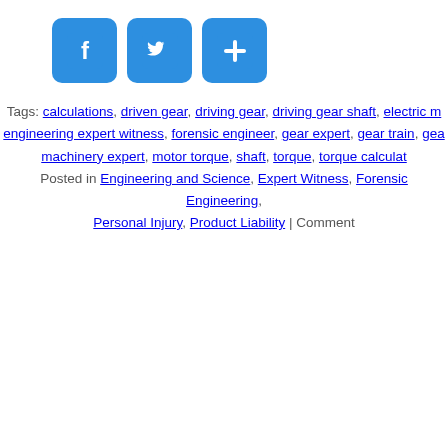[Figure (other): Social sharing icons: Facebook (F), Twitter (bird), and a plus/share button, all in blue rounded squares]
Tags: calculations, driven gear, driving gear, driving gear shaft, electric motor, engineering expert witness, forensic engineer, gear expert, gear train, gear, machinery expert, motor torque, shaft, torque, torque calculations
Posted in Engineering and Science, Expert Witness, Forensic Engineering, Personal Injury, Product Liability | Comments